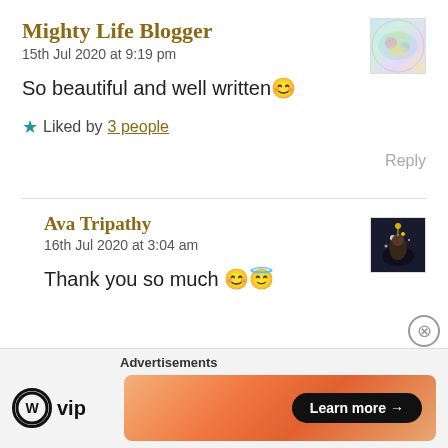Mighty Life Blogger
15th Jul 2020 at 9:19 pm
So beautiful and well written 😊
★ Liked by 3 people
Reply
Ava Tripathy
16th Jul 2020 at 3:04 am
Thank you so much 😊😇
Advertisements
WVip  Learn more →